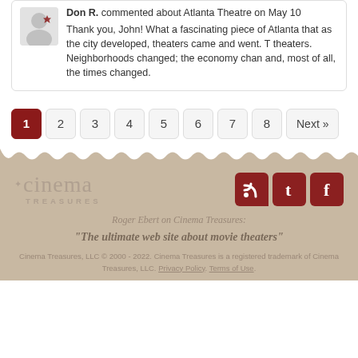Don R. commented about Atlanta Theatre on May 10
Thank you, John! What a fascinating piece of Atlanta that as the city developed, theaters came and went. T theaters. Neighborhoods changed; the economy chan and, most of all, the times changed.
1 2 3 4 5 6 7 8 Next »
[Figure (logo): Cinema Treasures logo with social media icons (RSS, Twitter, Facebook)]
Roger Ebert on Cinema Treasures:
"The ultimate web site about movie theaters"
Cinema Treasures, LLC © 2000 - 2022. Cinema Treasures is a registered trademark of Cinema Treasures, LLC. Privacy Policy. Terms of Use.